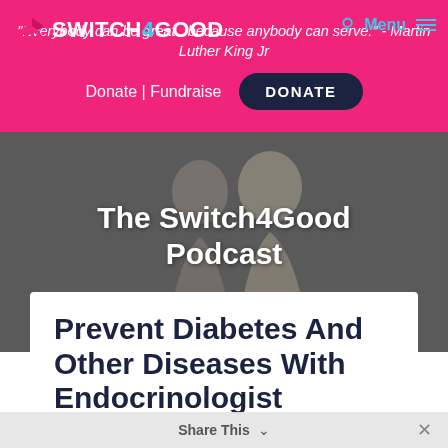"Everybody can be great...because anybody can serve." - Martin Luther King Jr
Donate | Fundraise  DONATE
[Figure (photo): Two women posing together against a grey background, used as the Switch4Good podcast hero image with navigation overlay showing logo, search icon, and Menu button]
The Switch4Good Podcast
Prevent Diabetes And Other Diseases With Endocrinologist
Share This  ×